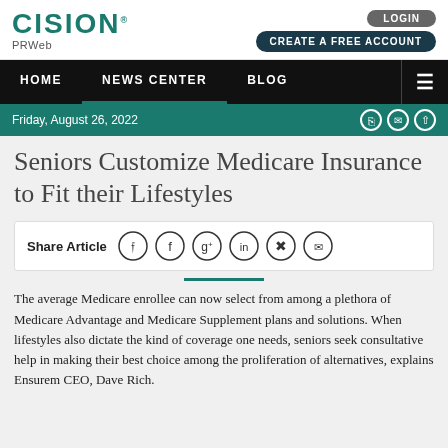CISION PRWeb | LOGIN | CREATE A FREE ACCOUNT
HOME | NEWS CENTER | BLOG
Friday, August 26, 2022
Seniors Customize Medicare Insurance to Fit their Lifestyles
Share Article
The average Medicare enrollee can now select from among a plethora of Medicare Advantage and Medicare Supplement plans and solutions. When lifestyles also dictate the kind of coverage one needs, seniors seek consultative help in making their best choice among the proliferation of alternatives, explains Ensurem CEO, Dave Rich.